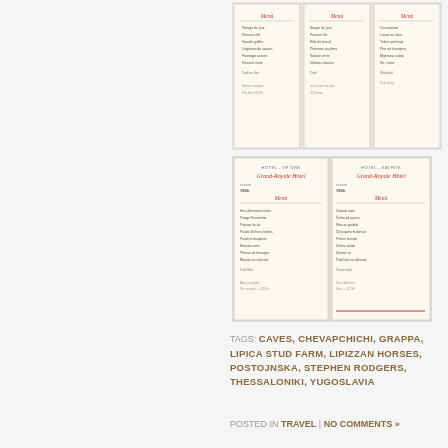[Figure (photo): Three vintage hotel menu cards side by side, cream/beige colored with red script headings, showing menu text]
[Figure (photo): Two vintage hotel menu cards side by side (HOTEL-KATHOS, Grand-Royale Hotel), cream colored with red script headings, showing menu items in columns]
TAGS: CAVES, CHEVAPCHICHI, GRAPPA, LIPICA STUD FARM, LIPIZZAN HORSES, POSTOJNSKA, STEPHEN RODGERS, THESSALONIKI, YUGOSLAVIA
POSTED IN TRAVEL | NO COMMENTS »